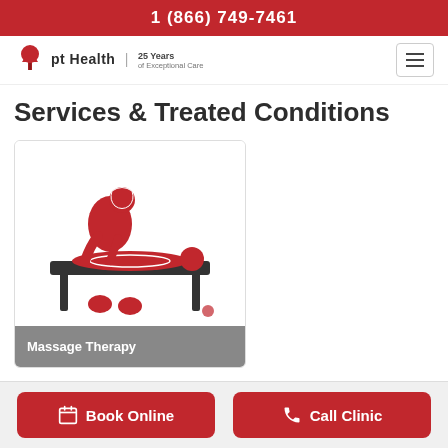1 (866) 749-7461
[Figure (logo): pt Health logo with tree icon and text '25 Years of Exceptional Care']
Services & Treated Conditions
[Figure (illustration): Red icon illustration of a massage therapist working on a patient lying on a massage table]
Massage Therapy
Book Online
Call Clinic